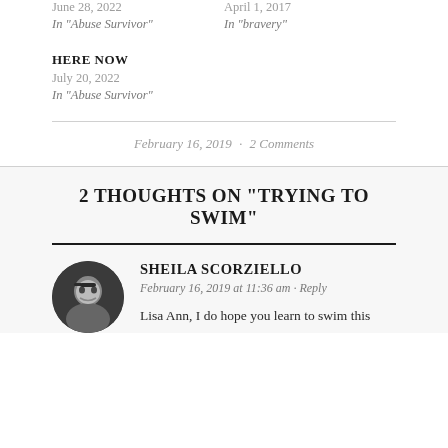June 28, 2022
In "Abuse Survivor"
April 1, 2017
In "bravery"
HERE NOW
July 20, 2022
In "Abuse Survivor"
February 16, 2019 · 2 Comments
2 THOUGHTS ON “TRYING TO SWIM”
SHEILA SCORZIELLO
February 16, 2019 at 11:36 am · Reply
Lisa Ann, I do hope you learn to swim this